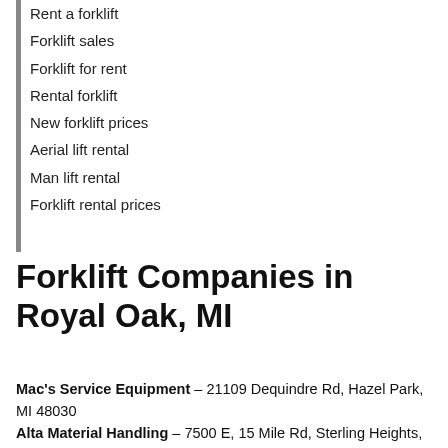Rent a forklift
Forklift sales
Forklift for rent
Rental forklift
New forklift prices
Aerial lift rental
Man lift rental
Forklift rental prices
Forklift Companies in Royal Oak, MI
Mac's Service Equipment – 21109 Dequindre Rd, Hazel Park, MI 48030
Alta Material Handling – 7500 E, 15 Mile Rd, Sterling Heights, MI 48312
Fraza – 6570 19 Mile Rd, Sterling Heights, MI 48314
Quantum Lift, Inc – 21300 Mac Arthur Blvd,